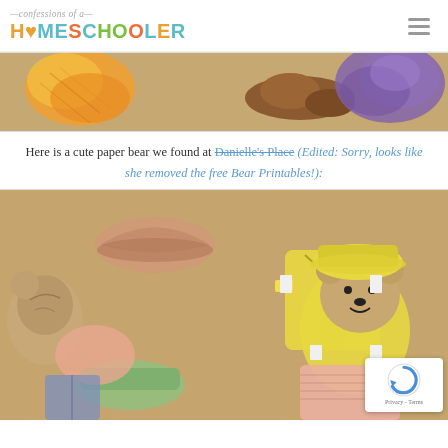confessions of a HOMESCHOOLER
[Figure (photo): Partially visible photo of colorful paper clothing cutouts and a brown paper bear piece on a beige carpet background]
Here is a cute paper bear we found at Danielle's Place (Edited: Sorry, looks like she removed the free Bear Printables!):
[Figure (photo): Photo of colorful paper bear doll cutouts with yellow raincoat, hats, and accessories laid out on a beige carpet. A reCAPTCHA badge is visible in the bottom right corner.]